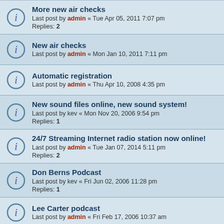More new air checks
Last post by admin « Tue Apr 05, 2011 7:07 pm
Replies: 2
New air checks
Last post by admin « Mon Jan 10, 2011 7:11 pm
Automatic registration
Last post by admin « Thu Apr 10, 2008 4:35 pm
New sound files online, new sound system!
Last post by kev « Mon Nov 20, 2006 9:54 pm
Replies: 1
24/7 Streaming Internet radio station now online!
Last post by admin « Tue Jan 07, 2014 5:11 pm
Replies: 2
Don Berns Podcast
Last post by kev « Fri Jun 02, 2006 11:28 pm
Replies: 1
Lee Carter podcast
Last post by admin « Fri Feb 17, 2006 10:37 am
Streaming podcasts now online!
Last post by Livewire « Tue Feb 21, 2006 11:40 pm
Replies: 4